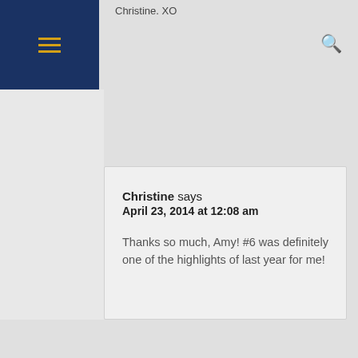Christine XO
Christine says
April 23, 2014 at 12:08 am

Thanks so much, Amy! #6 was definitely one of the highlights of last year for me!